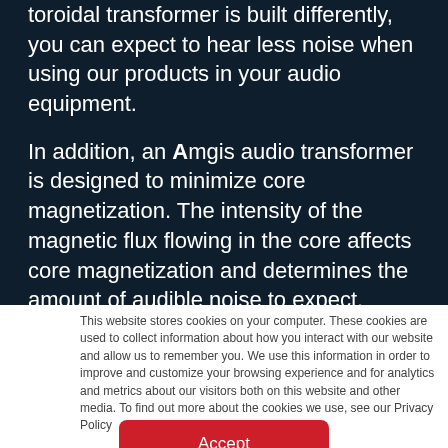toroidal transformer is built differently, you can expect to hear less noise when using our products in your audio equipment.
In addition, an Amgis audio transformer is designed to minimize core magnetization. The intensity of the magnetic flux flowing in the core affects core magnetization and determines the amount of audible noise to expect. They're engineered to operate at a lower flux density.
Each Amgis audio transformer is custom designed and built
This website stores cookies on your computer. These cookies are used to collect information about how you interact with our website and allow us to remember you. We use this information in order to improve and customize your browsing experience and for analytics and metrics about our visitors both on this website and other media. To find out more about the cookies we use, see our Privacy Policy
Accept